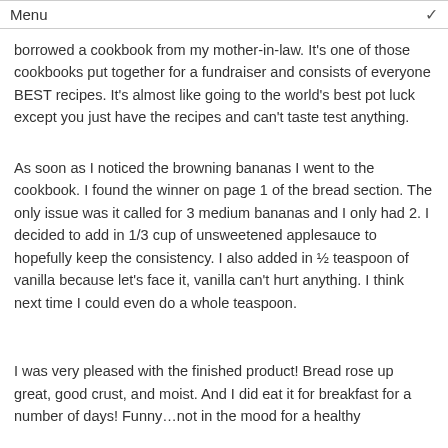Menu
borrowed a cookbook from my mother-in-law. It's one of those cookbooks put together for a fundraiser and consists of everyone BEST recipes. It's almost like going to the world's best pot luck except you just have the recipes and can't taste test anything.
As soon as I noticed the browning bananas I went to the cookbook. I found the winner on page 1 of the bread section. The only issue was it called for 3 medium bananas and I only had 2. I decided to add in 1/3 cup of unsweetened applesauce to hopefully keep the consistency. I also added in ½ teaspoon of vanilla because let's face it, vanilla can't hurt anything. I think next time I could even do a whole teaspoon.
I was very pleased with the finished product! Bread rose up great, good crust, and moist. And I did eat it for breakfast for a number of days! Funny…not in the mood for a healthy